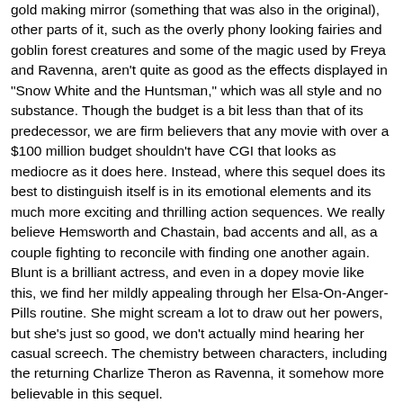gold making mirror (something that was also in the original), other parts of it, such as the overly phony looking fairies and goblin forest creatures and some of the magic used by Freya and Ravenna, aren't quite as good as the effects displayed in "Snow White and the Huntsman," which was all style and no substance. Though the budget is a bit less than that of its predecessor, we are firm believers that any movie with over a $100 million budget shouldn't have CGI that looks as mediocre as it does here. Instead, where this sequel does its best to distinguish itself is in its emotional elements and its much more exciting and thrilling action sequences. We really believe Hemsworth and Chastain, bad accents and all, as a couple fighting to reconcile with finding one another again. Blunt is a brilliant actress, and even in a dopey movie like this, we find her mildly appealing through her Elsa-On-Anger-Pills routine. She might scream a lot to draw out her powers, but she's just so good, we don't actually mind hearing her casual screech. The chemistry between characters, including the returning Charlize Theron as Ravenna, it somehow more believable in this sequel.
Sure, "The Hunstman: Winter's War" is an absolute fluff piece devoid of any powerful significance with the some